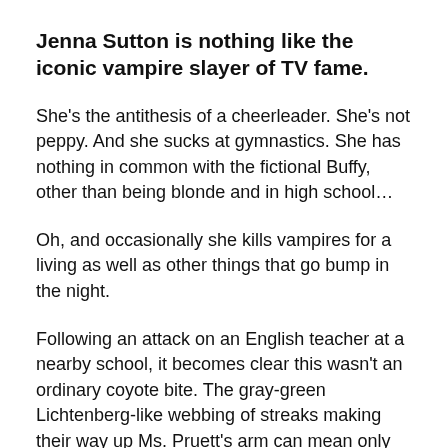Jenna Sutton is nothing like the iconic vampire slayer of TV fame.
She's the antithesis of a cheerleader. She's not peppy. And she sucks at gymnastics. She has nothing in common with the fictional Buffy, other than being blonde and in high school…
Oh, and occasionally she kills vampires for a living as well as other things that go bump in the night.
Following an attack on an English teacher at a nearby school, it becomes clear this wasn't an ordinary coyote bite. The gray-green Lichtenberg-like webbing of streaks making their way up Ms. Pruett's arm can mean only one thing—zombies.
But this isn't a normal zombie attack. The victims